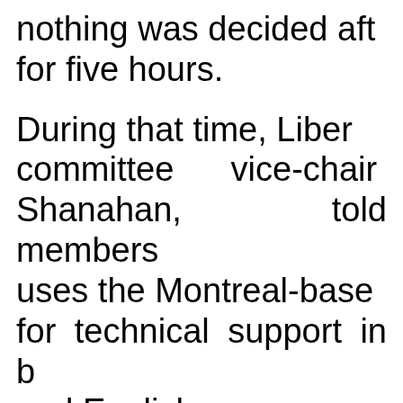nothing was decided after for five hours.
During that time, Liberal committee vice-chair Shanahan, told members uses the Montreal-based for technical support in b and English.
She also panned the C